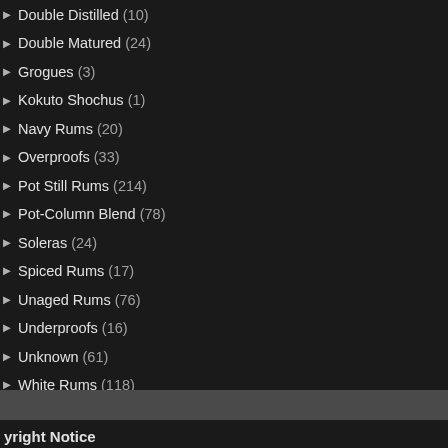Double Distilled (10)
Double Matured (24)
Grogues (3)
Kokuto Shochus (1)
Navy Rums (20)
Overproofs (33)
Pot Still Rums (214)
Pot-Column Blend (78)
Soleras (24)
Spiced Rums (17)
Unaged Rums (76)
Underproofs (16)
Unknown (61)
White Rums (118)
umaniacs (137)
he Makers (21)
yright Notice
right is inherent when an original work